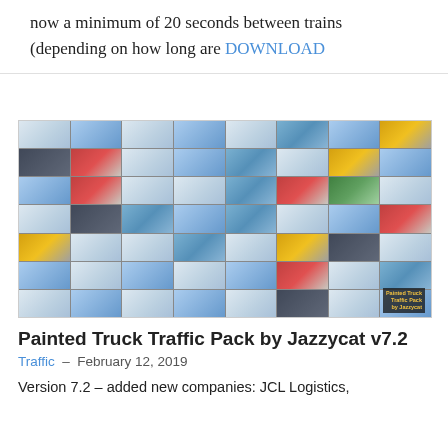now a minimum of 20 seconds between trains (depending on how long are DOWNLOAD
[Figure (photo): Grid collage of painted trucks from the Jazzycat traffic pack mod, showing many different truck and trailer combinations in rows and columns. A watermark in the bottom-right reads 'Painted Truck Traffic Pack by Jazzycat'.]
Painted Truck Traffic Pack by Jazzycat v7.2
Traffic – February 12, 2019
Version 7.2 – added new companies: JCL Logistics,